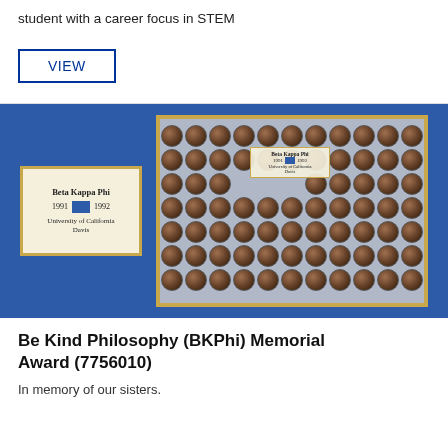student with a career focus in STEM
VIEW
[Figure (photo): Blue background display showing a Beta Kappa Phi 1991-1992 University of California Davis plaque on the left and a large photo board with circular member portraits on the right, framed in gold.]
Be Kind Philosophy (BKPhi) Memorial Award (7756010)
In memory of our sisters.